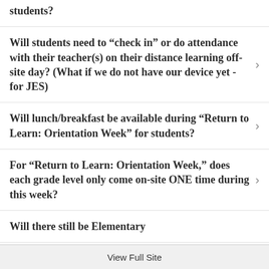students?
Will students need to “check in” or do attendance with their teacher(s) on their distance learning off-site day? (What if we do not have our device yet - for JES)
Will lunch/breakfast be available during “Return to Learn: Orientation Week” for students?
For “Return to Learn: Orientation Week,” does each grade level only come on-site ONE time during this week?
Will there still be Elementary
View Full Site